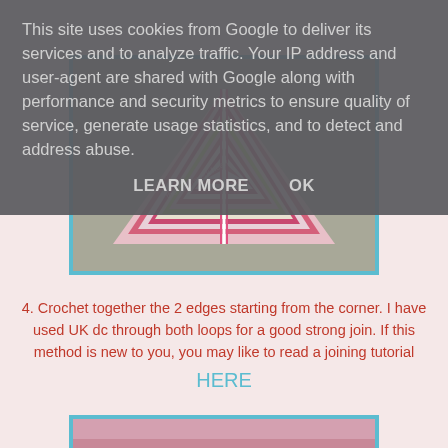[Figure (photo): Triangular crocheted shawl/cloth with colorful pink, white, yellow, and green stripes, with watermark 'the patchwork heart', shown against a grey fabric background, framed in blue border]
4. Crochet together the 2 edges starting from the corner. I have used UK dc through both loops for a good strong join. If this method is new to you, you may like to read a joining tutorial HERE
[Figure (photo): Bottom portion of another crochet image, partially visible, framed in blue border]
This site uses cookies from Google to deliver its services and to analyze traffic. Your IP address and user-agent are shared with Google along with performance and security metrics to ensure quality of service, generate usage statistics, and to detect and address abuse. LEARN MORE OK